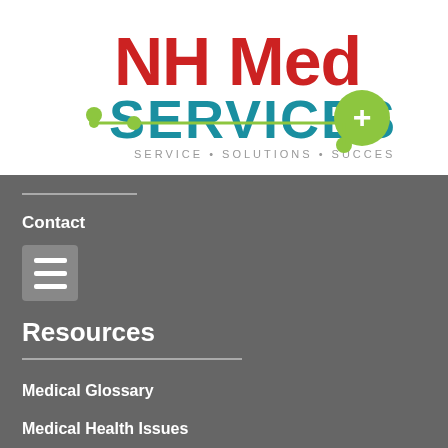[Figure (logo): NH Med Services logo with red NH Med text, teal SERVICES text, green molecule-like connector graphic and white plus sign in green circle, tagline SERVICE • SOLUTIONS • SUCCESS]
Contact
[Figure (other): Menu/hamburger icon with three horizontal bars on grey rounded square background]
Resources
Medical Glossary
Medical Health Issues
Medical Websites
Medicare Guide
Newsletter